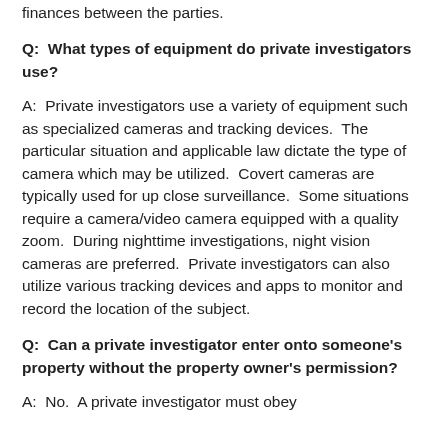finances between the parties.
Q:  What types of equipment do private investigators use?
A:  Private investigators use a variety of equipment such as specialized cameras and tracking devices.  The particular situation and applicable law dictate the type of camera which may be utilized.  Covert cameras are typically used for up close surveillance.  Some situations require a camera/video camera equipped with a quality zoom.  During nighttime investigations, night vision cameras are preferred.  Private investigators can also utilize various tracking devices and apps to monitor and record the location of the subject.
Q:  Can a private investigator enter onto someone's property without the property owner's permission?
A:  No.  A private investigator must obey